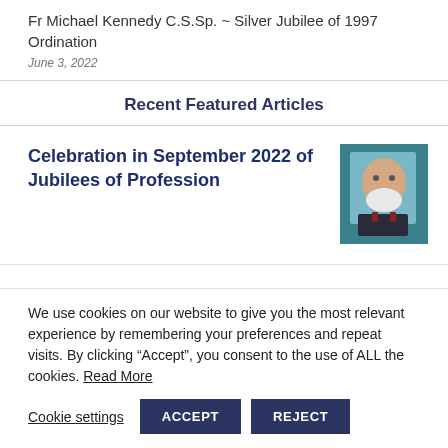Fr Michael Kennedy C.S.Sp. ~ Silver Jubilee of 1997 Ordination
June 3, 2022
Recent Featured Articles
Celebration in September 2022 of Jubilees of Profession
[Figure (photo): Headshot of an elderly man with white beard wearing dark clothing, against a teal background]
We use cookies on our website to give you the most relevant experience by remembering your preferences and repeat visits. By clicking “Accept”, you consent to the use of ALL the cookies. Read More
Cookie settings  ACCEPT  REJECT